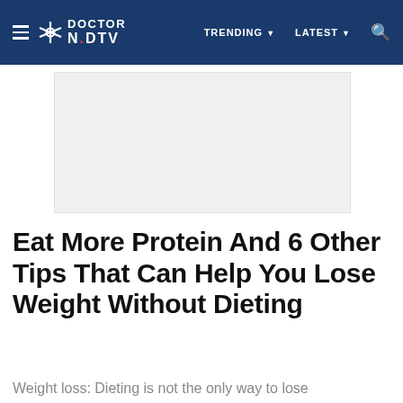DOCTOR NDTV | TRENDING | LATEST
[Figure (other): Advertisement placeholder area, light gray background]
Eat More Protein And 6 Other Tips That Can Help You Lose Weight Without Dieting
Weight loss: Dieting is not the only way to lose